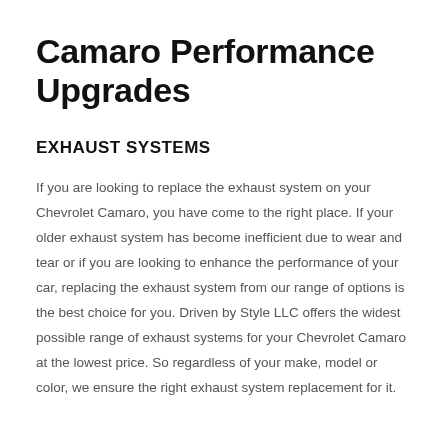Camaro Performance Upgrades
EXHAUST SYSTEMS
If you are looking to replace the exhaust system on your Chevrolet Camaro, you have come to the right place. If your older exhaust system has become inefficient due to wear and tear or if you are looking to enhance the performance of your car, replacing the exhaust system from our range of options is the best choice for you. Driven by Style LLC offers the widest possible range of exhaust systems for your Chevrolet Camaro at the lowest price. So regardless of your make, model or color, we ensure the right exhaust system replacement for it.